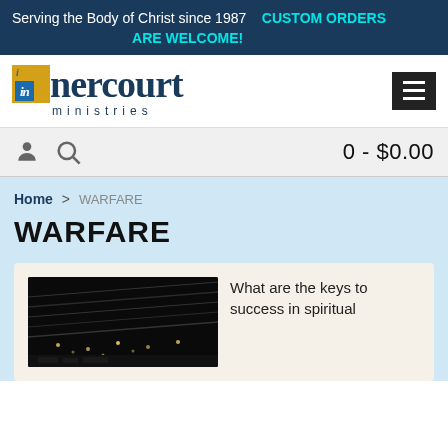Serving the Body of Christ since 1987   CUSTOM ORDERS ARE WELCOME!
[Figure (logo): Innercourt Ministries logo with blue and gold design]
0 - $0.00
Home > WARFARE
WARFARE
What are the keys to success in spiritual